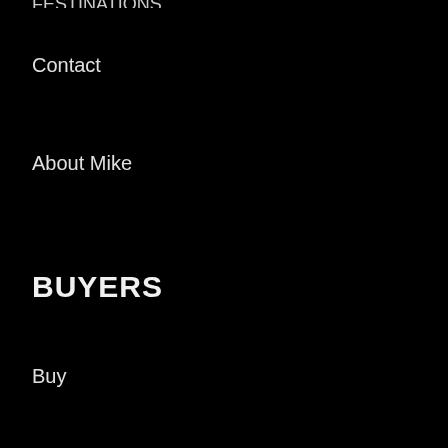Contact
About Mike
BUYERS
Buy
SELLERS
Sell